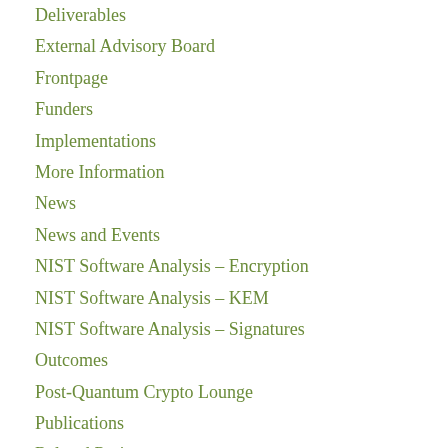Deliverables
External Advisory Board
Frontpage
Funders
Implementations
More Information
News
News and Events
NIST Software Analysis – Encryption
NIST Software Analysis – KEM
NIST Software Analysis – Signatures
Outcomes
Post-Quantum Crypto Lounge
Publications
Related Projects
Round 1 Candidates
Round 2 Candidates